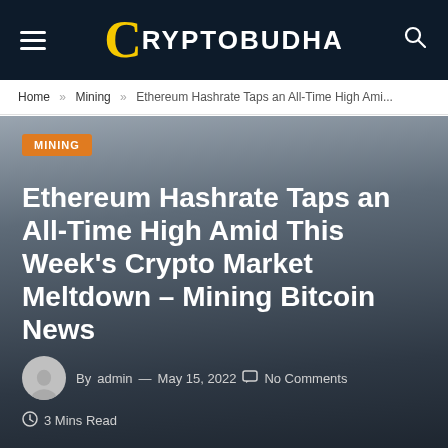CRYPTOBUDHA
Home » Mining » Ethereum Hashrate Taps an All-Time High Ami...
MINING
Ethereum Hashrate Taps an All-Time High Amid This Week's Crypto Market Meltdown – Mining Bitcoin News
By admin — May 15, 2022  No Comments
3 Mins Read